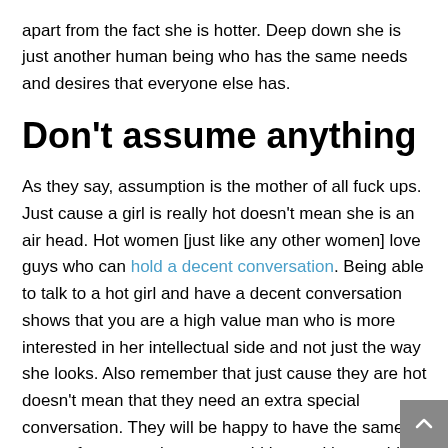apart from the fact she is hotter. Deep down she is just another human being who has the same needs and desires that everyone else has.
Don't assume anything
As they say, assumption is the mother of all fuck ups. Just cause a girl is really hot doesn't mean she is an air head. Hot women [just like any other women] love guys who can hold a decent conversation. Being able to talk to a hot girl and have a decent conversation shows that you are a high value man who is more interested in her intellectual side and not just the way she looks. Also remember that just cause they are hot doesn't mean that they need an extra special conversation. They will be happy to have the same types of conversation you would have with any girl. Like I have said in previous articles, on a biological side, all women are very similar and even hot girls